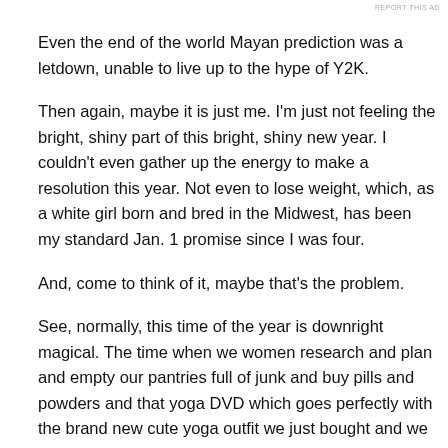REPORT THIS AD
Even the end of the world Mayan prediction was a letdown, unable to live up to the hype of Y2K.
Then again, maybe it is just me. I'm just not feeling the bright, shiny part of this bright, shiny new year. I couldn't even gather up the energy to make a resolution this year. Not even to lose weight, which, as a white girl born and bred in the Midwest, has been my standard Jan. 1 promise since I was four.
And, come to think of it, maybe that's the problem.
See, normally, this time of the year is downright magical. The time when we women research and plan and empty our pantries full of junk and buy pills and powders and that yoga DVD which goes perfectly with the brand new cute yoga outfit we just bought and we write out our daily menu